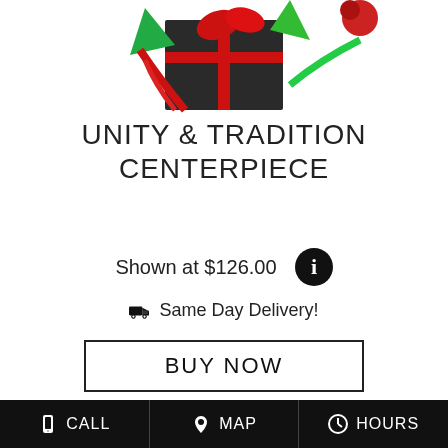[Figure (photo): Partial product photo of Unity & Tradition Centerpiece floral arrangement with red ribbons, green leaves, and dark box, cropped at top of page]
UNITY & TRADITION CENTERPIECE
Shown at $126.00
Same Day Delivery!
BUY NOW
[Figure (photo): Small thumbnail image of a green plant/foliage arrangement in a white box with gray border, partially visible at bottom of page]
CALL   MAP   HOURS